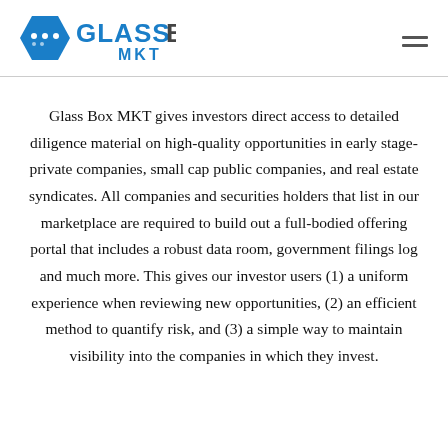GLASSBOX MKT
Glass Box MKT gives investors direct access to detailed diligence material on high-quality opportunities in early stage-private companies, small cap public companies, and real estate syndicates. All companies and securities holders that list in our marketplace are required to build out a full-bodied offering portal that includes a robust data room, government filings log and much more. This gives our investor users (1) a uniform experience when reviewing new opportunities, (2) an efficient method to quantify risk, and (3) a simple way to maintain visibility into the companies in which they invest.